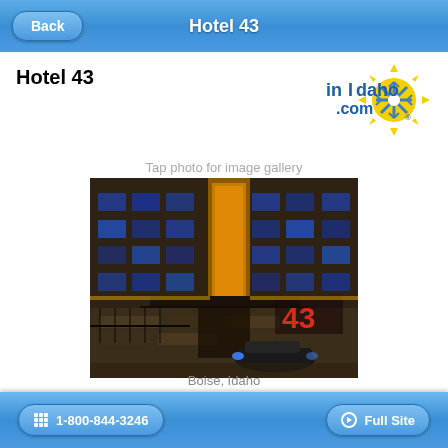Hotel 43
Hotel 43
[Figure (logo): inIdaho.com logo with yellow sunburst and blue snowflake]
Tap photo for image gallery
[Figure (photo): Nighttime exterior photo of Hotel 43 building in Boise, Idaho, showing multi-story hotel with glowing windows, stone facade entrance, and a car parked outside with the '43' sign lit in red/orange]
Boise, Idaho
1-800-844-3246   Full Site